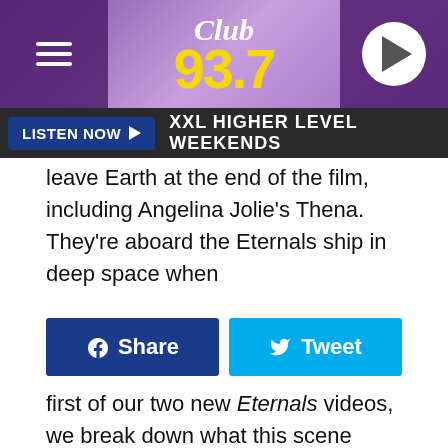Club 93.7
LISTEN NOW  XXL HIGHER LEVEL WEEKENDS
leave Earth at the end of the film, including Angelina Jolie's Thena. They're aboard the Eternals ship in deep space when
[Figure (screenshot): Share and Tweet social media buttons]
first of our two new Eternals videos, we break down what this scene means, who Pip and Eros (AKA Starfox) are, and where in the MCU they might appear next.